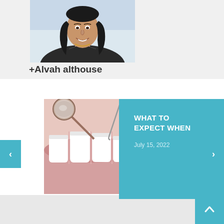[Figure (photo): Profile photo of a woman with long dark hair wearing a dark jacket and white collar shirt, smiling]
+Alvah althouse
[Figure (photo): Dental examination image showing teeth and a dental mirror tool]
[Figure (photo): Partial image of dental procedure on right side]
WHAT TO EXPECT WHEN
July 15, 2022